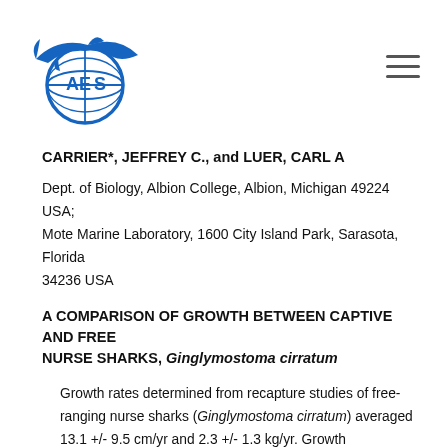[Figure (logo): Blue shark and globe logo for a marine science organization]
CARRIER*, JEFFREY C., and LUER, CARL A
Dept. of Biology, Albion College, Albion, Michigan 49224 USA; Mote Marine Laboratory, 1600 City Island Park, Sarasota, Florida 34236 USA
A COMPARISON OF GROWTH BETWEEN CAPTIVE AND FREE NURSE SHARKS, Ginglymostoma cirratum
Growth rates determined from recapture studies of free-ranging nurse sharks (Ginglymostoma cirratum) averaged 13.1 +/- 9.5 cm/yr and 2.3 +/- 1.3 kg/yr. Growth measurements on three captively maintained nurse